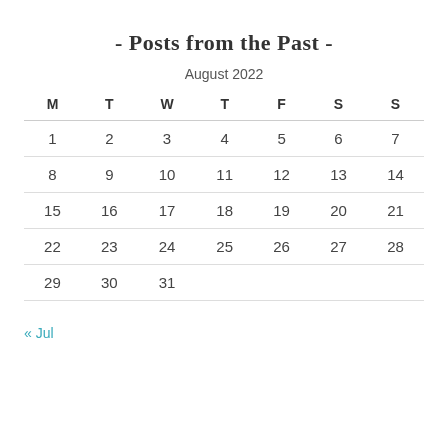- Posts from the Past -
| M | T | W | T | F | S | S |
| --- | --- | --- | --- | --- | --- | --- |
| 1 | 2 | 3 | 4 | 5 | 6 | 7 |
| 8 | 9 | 10 | 11 | 12 | 13 | 14 |
| 15 | 16 | 17 | 18 | 19 | 20 | 21 |
| 22 | 23 | 24 | 25 | 26 | 27 | 28 |
| 29 | 30 | 31 |  |  |  |  |
« Jul